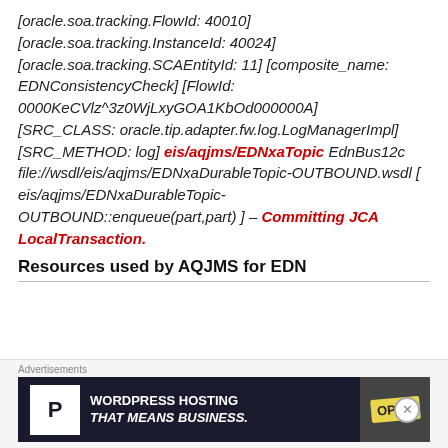[oracle.soa.tracking.FlowId: 40010] [oracle.soa.tracking.InstanceId: 40024] [oracle.soa.tracking.SCAEntityId: 11] [composite_name: EDNConsistencyCheck] [FlowId: 0000KeCVlz^3z0WjLxyGOA1KbOd000000A] [SRC_CLASS: oracle.tip.adapter.fw.log.LogManagerImpl] [SRC_METHOD: log] eis/aqjms/EDNxaTopic EdnBus12c file://wsdl/eis/aqjms/EDNxaDurableTopic-OUTBOUND.wsdl [ eis/aqjms/EDNxaDurableTopic-OUTBOUND::enqueue(part,part) ] – Committing JCA LocalTransaction.
Resources used by AQJMS for EDN
[Figure (other): Advertisement banner: WordPress Hosting That Means Business with P logo and Open sign]